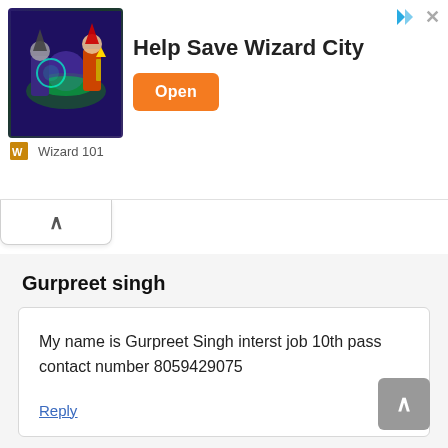[Figure (screenshot): Advertisement banner for 'Wizard 101' game showing fantasy game art with wizards and magical creatures, a bold title 'Help Save Wizard City', an orange 'Open' button, and 'Wizard 101' branding at the bottom. Small share and close icons at top right.]
Gurpreet singh
My name is Gurpreet Singh interst job 10th pass contact number 8059429075
Reply